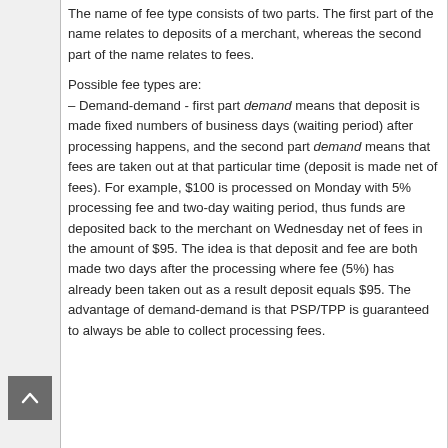The name of fee type consists of two parts. The first part of the name relates to deposits of a merchant, whereas the second part of the name relates to fees.

Possible fee types are:
– Demand-demand - first part demand means that deposit is made fixed numbers of business days (waiting period) after processing happens, and the second part demand means that fees are taken out at that particular time (deposit is made net of fees). For example, $100 is processed on Monday with 5% processing fee and two-day waiting period, thus funds are deposited back to the merchant on Wednesday net of fees in the amount of $95. The idea is that deposit and fee are both made two days after the processing where fee (5%) has already been taken out as a result deposit equals $95. The advantage of demand-demand is that PSP/TPP is guaranteed to always be able to collect processing fees.